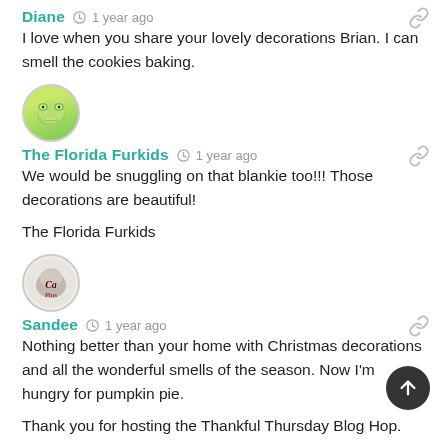Diane  1 year ago
I love when you share your lovely decorations Brian. I can smell the cookies baking.
[Figure (illustration): Round avatar with green cartoon frog face]
The Florida Furkids  1 year ago
We would be snuggling on that blankie too!!! Those decorations are beautiful!

The Florida Furkids
[Figure (illustration): Round avatar with dark illustrated animal/logo]
Sandee  1 year ago
Nothing better than your home with Christmas decorations and all the wonderful smells of the season. Now I'm hungry for pumpkin pie.

Thank you for hosting the Thankful Thursday Blog Hop.